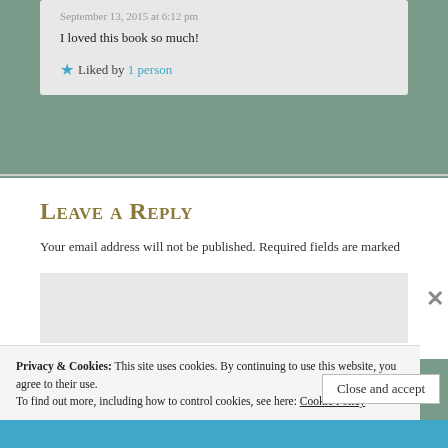September 13, 2015 at 6:12 pm
I loved this book so much!
Liked by 1 person
Leave a Reply
Your email address will not be published. Required fields are marked
Privacy & Cookies: This site uses cookies. By continuing to use this website, you agree to their use.
To find out more, including how to control cookies, see here: Cookie Policy
Close and accept